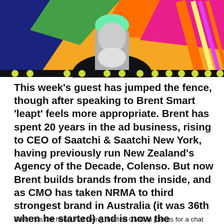[Figure (photo): Colorful collage-style photo of a person against bright geometric shapes (orange, blue, green, pink) with yellow dot pattern along bottom edge. Black and white portrait photo in center with colorful background.]
This week's guest has jumped the fence, though after speaking to Brent Smart 'leapt' feels more appropriate. Brent has spent 20 years in the ad business, rising to CEO of Saatchi & Saatchi New York, having previously run New Zealand's Agency of the Decade, Colenso. But now Brent builds brands from the inside, and as CMO has taken NRMA to third strongest brand in Australia (it was 36th when he started) and is now the strongest insurance brand in the world.
Brent has the honour of being the first CMO to join us for a chat